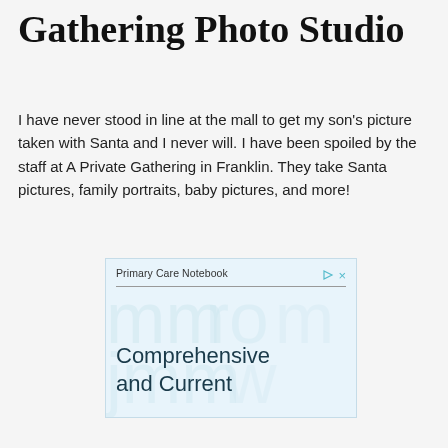Gathering Photo Studio
I have never stood in line at the mall to get my son's picture taken with Santa and I never will. I have been spoiled by the staff at A Private Gathering in Franklin. They take Santa pictures, family portraits, baby pictures, and more!
[Figure (screenshot): Advertisement for Primary Care Notebook showing text 'Comprehensive and Current' on a light blue background with faint watermark-style lettering. Has small play and close icons in top right corner.]